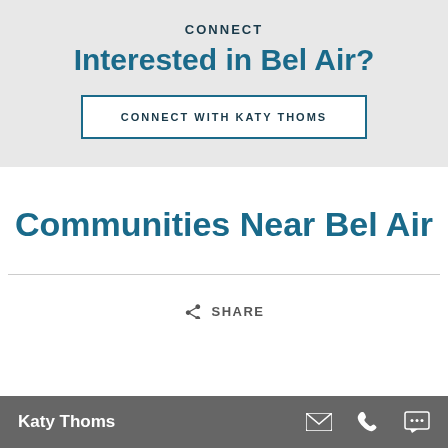CONNECT
Interested in Bel Air?
CONNECT WITH KATY THOMS
Communities Near Bel Air
SHARE
Katy Thoms